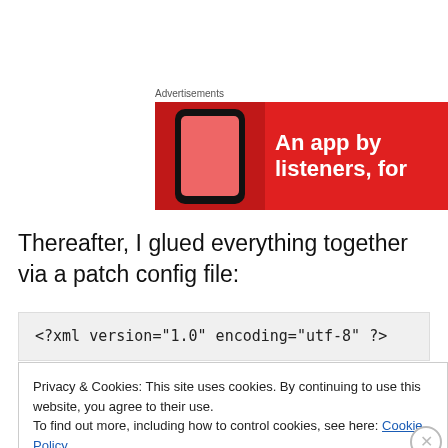Advertisements
[Figure (illustration): Advertisement banner with red background showing a smartphone on the left and text 'An app by listeners, for' in bold white on the right.]
Thereafter, I glued everything together via a patch config file:
Privacy & Cookies: This site uses cookies. By continuing to use this website, you agree to their use.
To find out more, including how to control cookies, see here: Cookie Policy
Close and accept